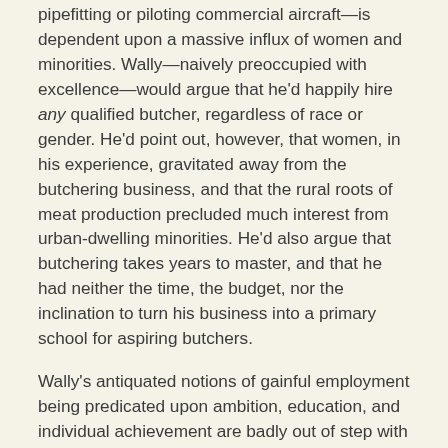pipefitting or piloting commercial aircraft—is dependent upon a massive influx of women and minorities. Wally—naively preoccupied with excellence—would argue that he'd happily hire any qualified butcher, regardless of race or gender. He'd point out, however, that women, in his experience, gravitated away from the butchering business, and that the rural roots of meat production precluded much interest from urban-dwelling minorities. He'd also argue that butchering takes years to master, and that he had neither the time, the budget, nor the inclination to turn his business into a primary school for aspiring butchers.
Wally's antiquated notions of gainful employment being predicated upon ambition, education, and individual achievement are badly out of step with contemporary, progressive ideology, which eschews excellence in favor of diversity. United Airlines's pledge to repopulate its pilot cadre with women and minorities exemplifies this ethos. Whether or not the legacy carrier will require its diverse, colorful, new-hires to know the first thing about piloting airplanes remains to be seen.